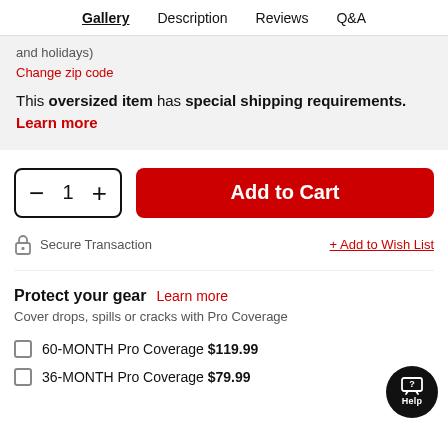Gallery  Description  Reviews  Q&A
and holidays)
Change zip code
This oversized item has special shipping requirements. Learn more
- 1 +  Add to Cart
Secure Transaction  + Add to Wish List
Protect your gear  Learn more
Cover drops, spills or cracks with Pro Coverage
60-MONTH Pro Coverage $119.99
36-MONTH Pro Coverage $79.99